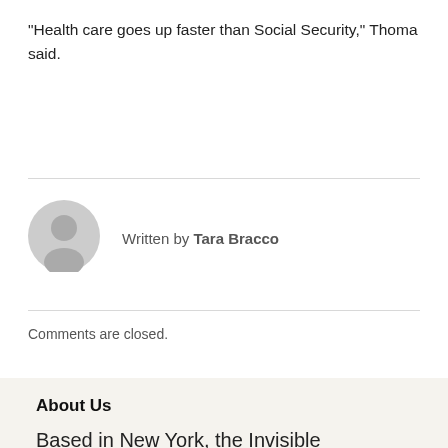“Health care goes up faster than Social Security,” Thoma said.
[Figure (illustration): Generic user avatar icon — a grey silhouette of a person in a circle]
Written by Tara Bracco
Comments are closed.
About Us
Based in New York, the Invisible